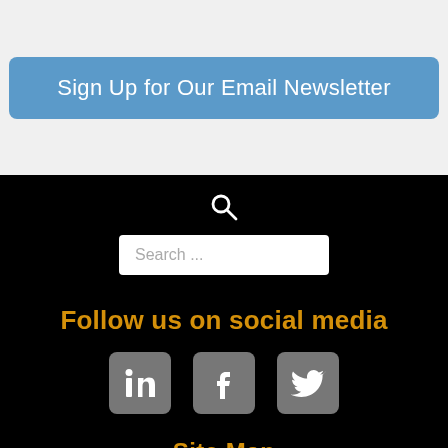Sign Up for Our Email Newsletter
[Figure (screenshot): Search icon (magnifying glass) above a search text input box with placeholder text 'Search ...']
Follow us on social media
[Figure (infographic): Three social media icons: LinkedIn, Facebook, and Twitter on grey rounded square backgrounds]
Site Map